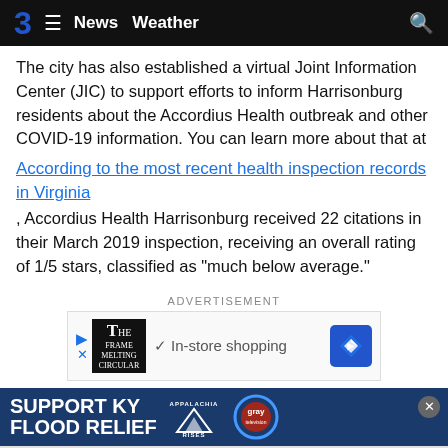3  ≡  News  Weather  🔍
The city has also established a virtual Joint Information Center (JIC) to support efforts to inform Harrisonburg residents about the Accordius Health outbreak and other COVID-19 information. You can learn more about that at
According to the most recent health inspection records in Virginia
, Accordius Health Harrisonburg received 22 citations in their March 2019 inspection, receiving an overall rating of 1/5 stars, classified as "much below average."
ADVERTISEMENT
[Figure (screenshot): Advertisement banner showing The Frame Melting Circular logo, In-store shopping text with checkmark, and a blue diamond navigation icon]
[Figure (screenshot): Support KY Flood Relief banner with Appalachia Rises and gray television network logo]
Familie...  ...hat it's